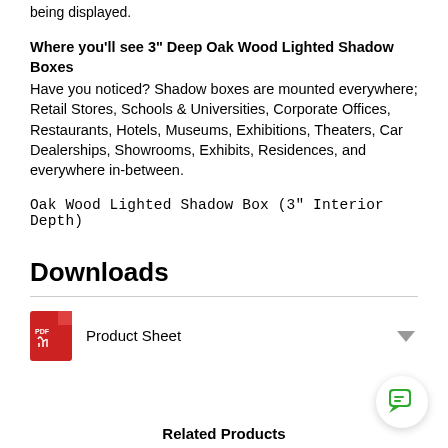being displayed.
Where you'll see 3" Deep Oak Wood Lighted Shadow Boxes
Have you noticed? Shadow boxes are mounted everywhere; Retail Stores, Schools & Universities, Corporate Offices, Restaurants, Hotels, Museums, Exhibitions, Theaters, Car Dealerships, Showrooms, Exhibits, Residences, and everywhere in-between.
Oak Wood Lighted Shadow Box (3" Interior Depth)
Downloads
Product Sheet
Related Products